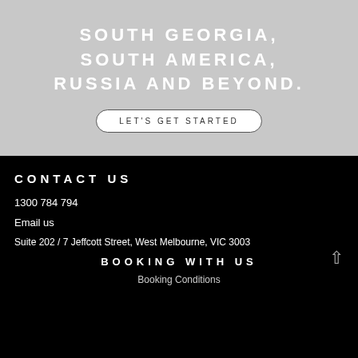SOUTH GEORGIA, SOUTH AMERICA, RUSSIA AND BEYOND.
LET'S GET STARTED
CONTACT US
1300 784 794
Email us
Suite 202 / 7 Jeffcott Street, West Melbourne, VIC 3003
BOOKING WITH US
Booking Conditions